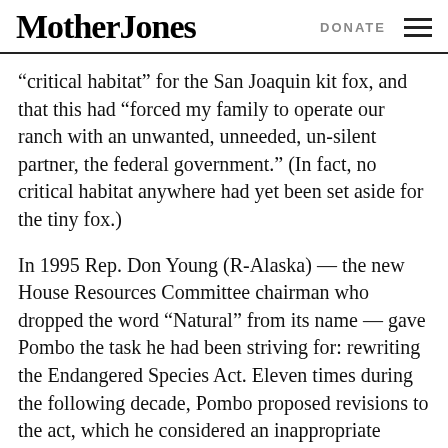Mother Jones | DONATE
“critical habitat” for the San Joaquin kit fox, and that this had “forced my family to operate our ranch with an unwanted, unneeded, un-silent partner, the federal government.” (In fact, no critical habitat anywhere had yet been set aside for the tiny fox.)
In 1995 Rep. Don Young (R-Alaska) — the new House Resources Committee chairman who dropped the word “Natural” from its name — gave Pombo the task he had been striving for: rewriting the Endangered Species Act. Eleven times during the following decade, Pombo proposed revisions to the act, which he considered an inappropriate imposition on, or “taking” of, private property rights.